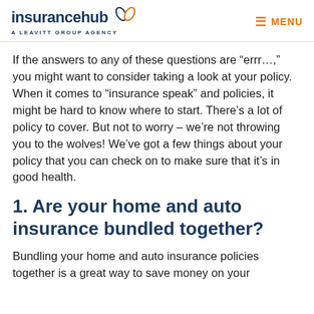insurancehub A LEAVITT GROUP AGENCY | MENU
If the answers to any of these questions are “errr…,” you might want to consider taking a look at your policy. When it comes to “insurance speak” and policies, it might be hard to know where to start. There’s a lot of policy to cover. But not to worry – we’re not throwing you to the wolves! We’ve got a few things about your policy that you can check on to make sure that it’s in good health.
1. Are your home and auto insurance bundled together?
Bundling your home and auto insurance policies together is a great way to save money on your